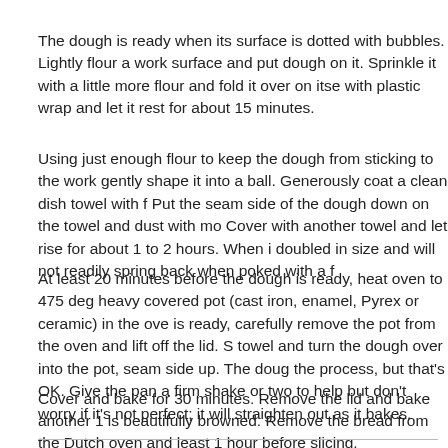The dough is ready when its surface is dotted with bubbles. Lightly flour a work surface and put dough on it. Sprinkle it with a little more flour and fold it over on itself once or twice. Cover loosely with plastic wrap and let it rest for about 15 minutes.
Using just enough flour to keep the dough from sticking to the work surface or to your fingers, gently shape it into a ball. Generously coat a clean dish towel with flour, wheat bran or cornmeal. Put the seam side of the dough down on the towel and dust with more flour, bran or cornmeal. Cover with another towel and let rise for about 1 to 2 hours. When it is ready, the dough will be more than doubled in size and will not readily spring back when poked with a finger.
At least 20 minutes before the dough is ready, heat oven to 475 degrees. Put a 6- to 8-quart heavy covered pot (cast iron, enamel, Pyrex or ceramic) in the oven as it heats. When the dough is ready, carefully remove the pot from the oven and lift off the lid. Slide your hand under the towel and turn the dough over into the pot, seam side up. The dough will lose its shape a bit in the process, but that's OK. Give the pan a firm shake or two to help the dough settle evenly, but don't worry if it's not perfect; it will straighten out as it bakes.
Cover and bake for 30 minutes. Remove the lid and bake another 15 to 30 minutes, until the loaf is beautifully browned. Remove the bread from the Dutch oven and let it cool on a rack for at least 1 hour before slicing.